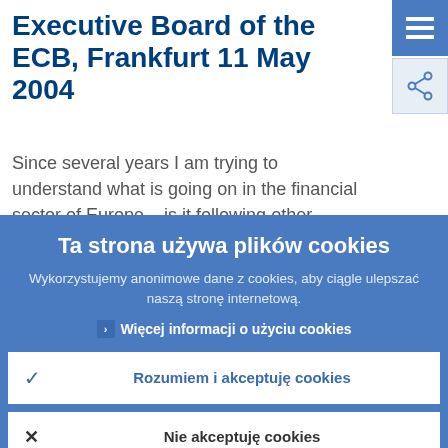Executive Board of the ECB, Frankfurt 11 May 2004
Since several years I am trying to understand what is going on in the financial sector of Europe – is it following other
[Figure (other): Hamburger menu icon (three horizontal white lines on blue background)]
[Figure (other): Share icon (network nodes symbol on light blue background)]
Ta strona używa plików cookies
Wykorzystujemy anonimowe dane z cookies, aby ciągle ulepszać naszą stronę internetową.
Więcej informacji o użyciu cookies
✓  Rozumiem i akceptuję cookies
✕  Nie akceptuję cookies